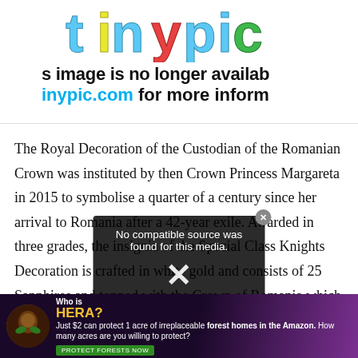[Figure (logo): TinyPic logo with colorful bubble-style lettering in blue, yellow, green, and red]
[Figure (screenshot): TinyPic broken image placeholder message reading 's image is no longer availab' and 'inypic.com for more inform']
The Royal Decoration of the Custodian of the Romanian Crown was instituted by then Crown Princess Margareta in 2015 to symbolise a quarter of a century since her arrival to Romania after a 42-year exile. Awarded in three grades, the insignia of the Special Class Knights Decoration is crafted in white gold and consists of 25 Sapphires and topped with the Crown of Romania which hangs from the dark
[Figure (screenshot): Overlay popup on video player saying 'No compatible source was found for this media.' with an X close button]
[Figure (screenshot): Advertisement banner at bottom: 'Who is HERA?' with text 'Just $2 can protect 1 acre of irreplaceable forest homes in the Amazon. How many acres are you willing to protect?' and a PROTECT FORESTS NOW button]